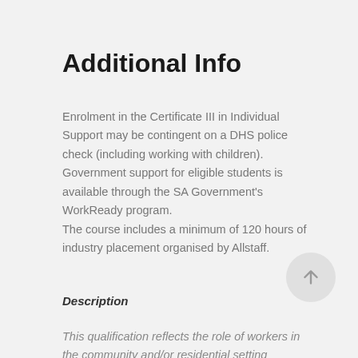Additional Info
Enrolment in the Certificate III in Individual Support may be contingent on a DHS police check (including working with children). Government support for eligible students is available through the SA Government's WorkReady program.
The course includes a minimum of 120 hours of industry placement organised by Allstaff.
Description
This qualification reflects the role of workers in the community and/or residential setting